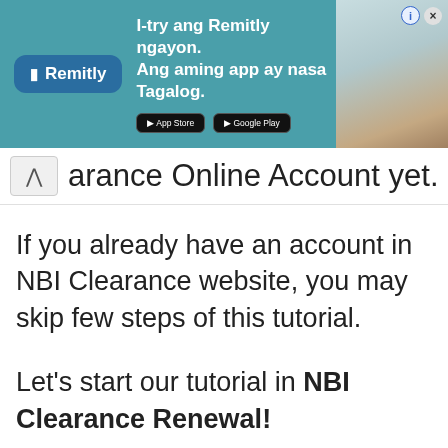[Figure (screenshot): Remitly advertisement banner with teal/blue background, Remitly logo on left, tagline 'I-try ang Remitly ngayon. Ang aming app ay nasa Tagalog.' in white text, App Store and Google Play buttons, and a photo of two people on the right.]
arance Online Account yet.
If you already have an account in NBI Clearance website, you may skip few steps of this tutorial.
Let's start our tutorial in NBI Clearance Renewal!